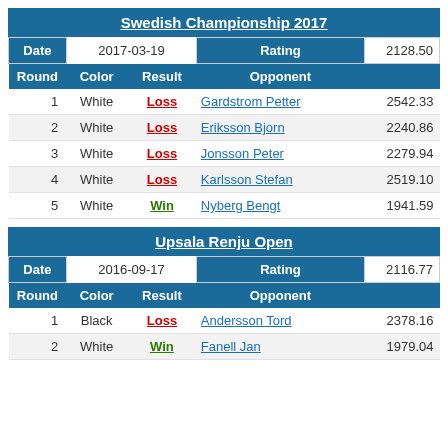Swedish Championship 2017
| Date | 2017-03-19 | Rating | 2128.50 |
| --- | --- | --- | --- |
| Round | Color | Result | Opponent |  |
| 1 | White | Loss | Gardstrom Petter | 2542.33 |
| 2 | White | Loss | Eriksson Bjorn | 2240.86 |
| 3 | White | Loss | Jonsson Peter | 2279.94 |
| 4 | White | Loss | Karlsson Stefan | 2519.10 |
| 5 | White | Win | Nyberg Bengt | 1941.59 |
Upsala Renju Open
| Date | 2016-09-17 | Rating | 2116.77 |
| --- | --- | --- | --- |
| Round | Color | Result | Opponent |  |
| 1 | Black | Loss | Andersson Tord | 2378.16 |
| 2 | White | Win | Fanell Jan | 1979.04 |